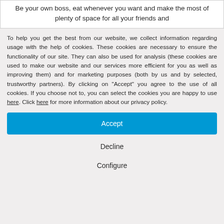Be your own boss, eat whenever you want and make the most of plenty of space for all your friends and
To help you get the best from our website, we collect information regarding usage with the help of cookies. These cookies are necessary to ensure the functionality of our site. They can also be used for analysis (these cookies are used to make our website and our services more efficient for you as well as improving them) and for marketing purposes (both by us and by selected, trustworthy partners). By clicking on "Accept" you agree to the use of all cookies. If you choose not to, you can select the cookies you are happy to use here. Click here for more information about our privacy policy.
Accept
Decline
Configure